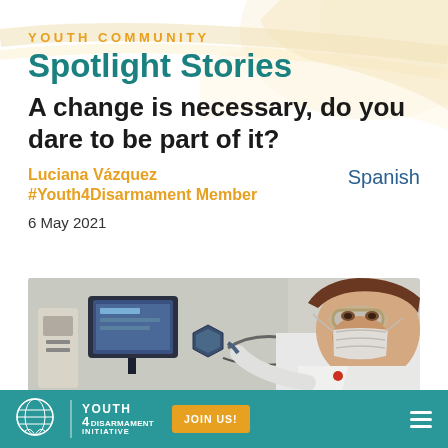YOUTH COMMUNITY
Spotlight Stories
A change is necessary, do you dare to be part of it?
Luciana Vázquez
Spanish
#Youth4Disarmament Member
6 May 2021
[Figure (photo): A woman wearing a white lab coat, protective goggles, and a face mask, working with scientific/laboratory equipment including what appears to be a 3D printer or similar device, in a laboratory setting.]
YOUTH 4 DISARMAMENT INITIATIVE | JOIN US!